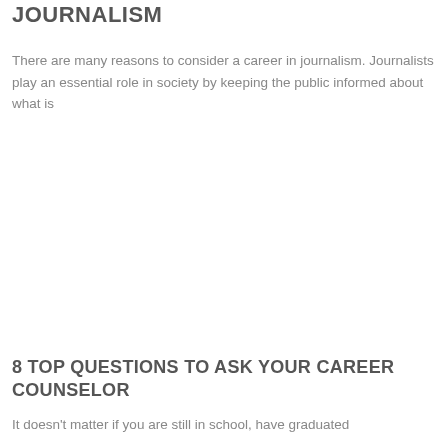JOURNALISM
There are many reasons to consider a career in journalism. Journalists play an essential role in society by keeping the public informed about what is
8 TOP QUESTIONS TO ASK YOUR CAREER COUNSELOR
It doesn't matter if you are still in school, have graduated